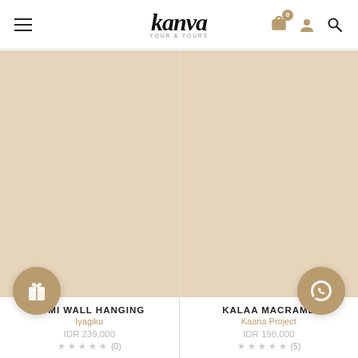Kanva - Navigation header with hamburger menu, logo, cart (0), account, and search icons
[Figure (screenshot): Product card image area for YUMI WALL HANGING – beige/tan background placeholder]
YUMI WALL HANGING
Iyagiku
IDR 239,000
★ ★ ★ ★ ★ (0)
[Figure (screenshot): Product card image area for KALAA MACRAME – beige/tan background placeholder]
KALAA MACRAME
Kaana Project
IDR 198,000
★ ★ ★ ★ ★ (5)